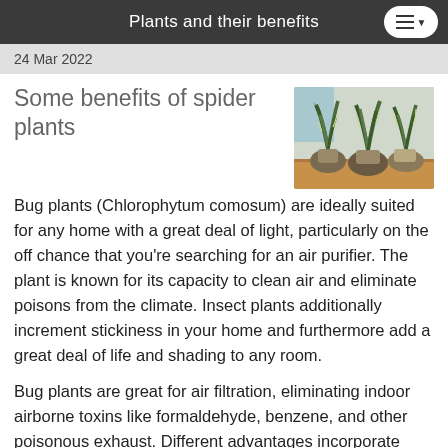Plants and their benefits
24 Mar 2022
Some benefits of spider plants
[Figure (photo): Three snake plants (Sansevieria) in woven pots on a wooden surface near a window]
Bug plants (Chlorophytum comosum) are ideally suited for any home with a great deal of light, particularly on the off chance that you're searching for an air purifier. The plant is known for its capacity to clean air and eliminate poisons from the climate. Insect plants additionally increment stickiness in your home and furthermore add a great deal of life and shading to any room.
Bug plants are great for air filtration, eliminating indoor airborne toxins like formaldehyde, benzene, and other poisonous exhaust. Different advantages incorporate assimilation of ozone, humidification